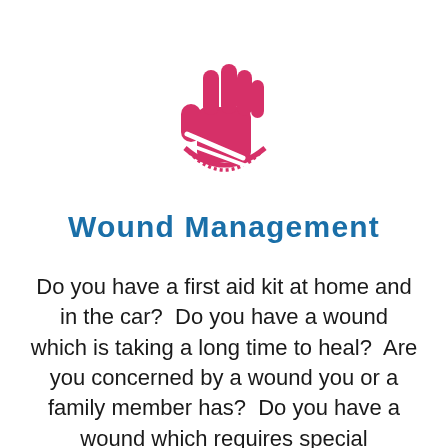[Figure (illustration): Pink/red icon of a hand with a bandage/sling wrapped around the wrist area]
Wound Management
Do you have a first aid kit at home and in the car?  Do you have a wound which is taking a long time to heal?  Are you concerned by a wound you or a family member has?  Do you have a wound which requires special dressing?  Are you unsure about how to care for a wound?  At